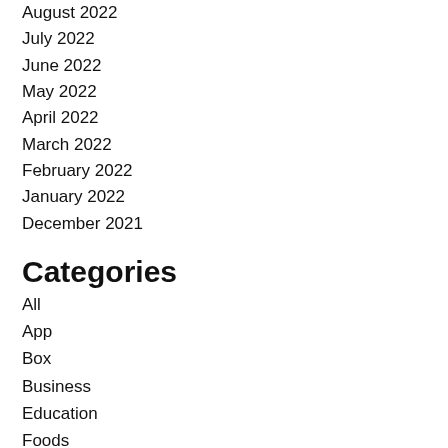August 2022
July 2022
June 2022
May 2022
April 2022
March 2022
February 2022
January 2022
December 2021
Categories
All
App
Box
Business
Education
Foods
Games
Gift
Health